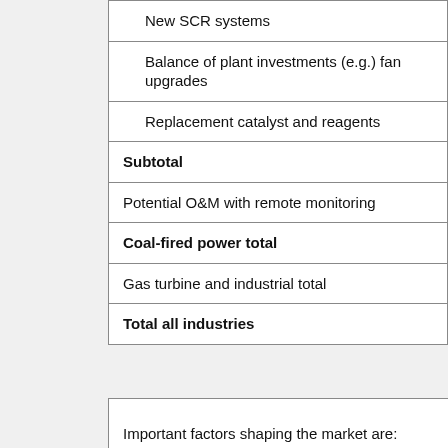| New SCR systems |
| Balance of plant investments (e.g.) fan upgrades |
| Replacement catalyst and reagents |
| Subtotal |
| Potential O&M with remote monitoring |
| Coal-fired power total |
| Gas turbine and industrial total |
| Total all industries |
Important factors shaping the market are: